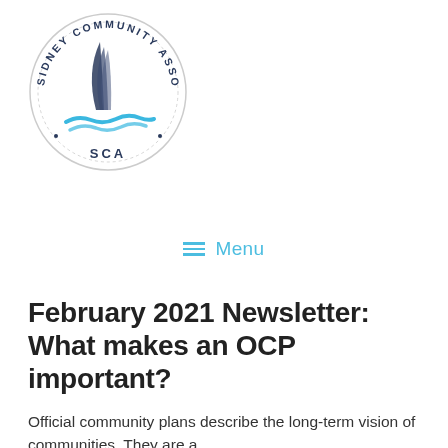[Figure (logo): Sidney Community Association (SCA) circular logo with sailboat graphic and text around the border]
≡  Menu
February 2021 Newsletter: What makes an OCP important?
Official community plans describe the long-term vision of communities. They are a